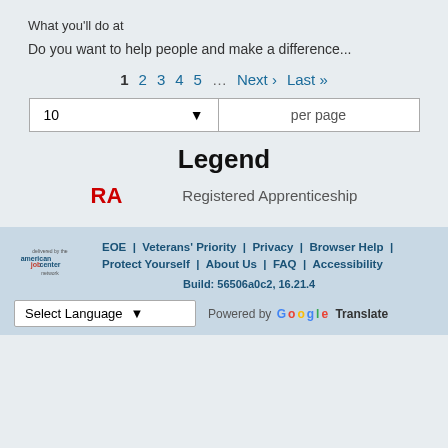What you'll do at
Do you want to help people and make a difference...
1  2  3  4  5  ...  Next ›  Last »
10  per page
Legend
RA   Registered Apprenticeship
EOE | Veterans' Priority | Privacy | Browser Help | Protect Yourself | About Us | FAQ | Accessibility Build: 56506a0c2, 16.21.4
Select Language  Powered by Google Translate